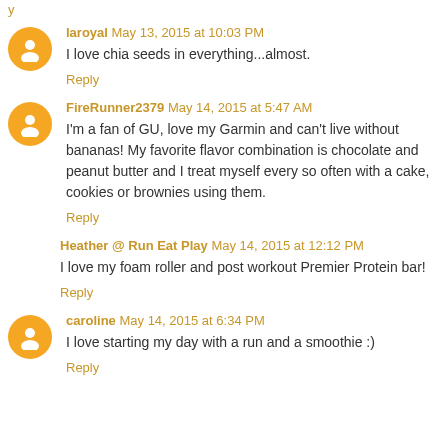laroyal  May 13, 2015 at 10:03 PM
I love chia seeds in everything...almost.
Reply
FireRunner2379  May 14, 2015 at 5:47 AM
I'm a fan of GU, love my Garmin and can't live without bananas! My favorite flavor combination is chocolate and peanut butter and I treat myself every so often with a cake, cookies or brownies using them.
Reply
Heather @ Run Eat Play  May 14, 2015 at 12:12 PM
I love my foam roller and post workout Premier Protein bar!
Reply
caroline  May 14, 2015 at 6:34 PM
I love starting my day with a run and a smoothie :)
Reply